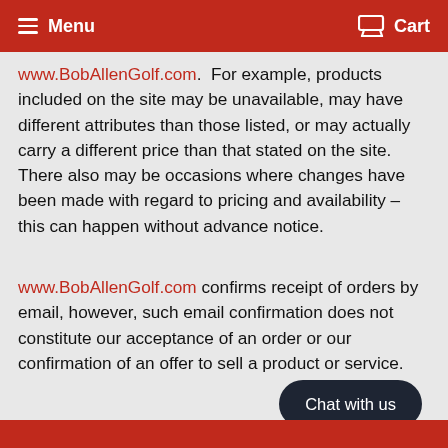Menu   Cart
www.BobAllenGolf.com.  For example, products included on the site may be unavailable, may have different attributes than those listed, or may actually carry a different price than that stated on the site. There also may be occasions where changes have been made with regard to pricing and availability – this can happen without advance notice.
www.BobAllenGolf.com confirms receipt of orders by email, however, such email confirmation does not constitute our acceptance of an order or our confirmation of an offer to sell a product or service.
[Figure (other): Chat with us button (dark rounded rectangle)]